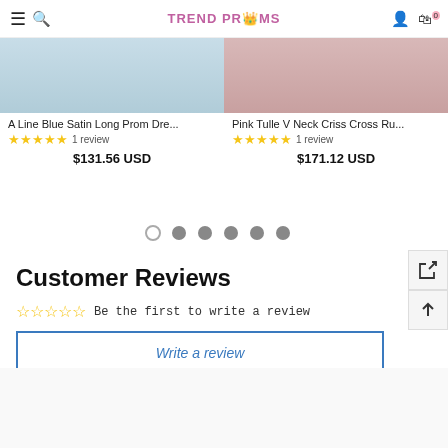TREND PROMS
A Line Blue Satin Long Prom Dre... ★★★★★ 1 review $131.56 USD
Pink Tulle V Neck Criss Cross Ru... ★★★★★ 1 review $171.12 USD
[Figure (other): Carousel pagination dots — 6 dots, first is empty/outline, rest are filled grey]
Customer Reviews
Be the first to write a review
Write a review